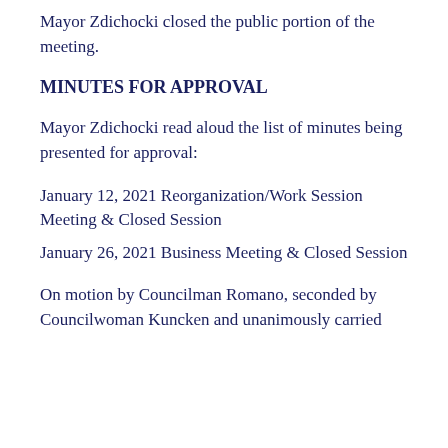Mayor Zdichocki closed the public portion of the meeting.
MINUTES FOR APPROVAL
Mayor Zdichocki read aloud the list of minutes being presented for approval:
January 12, 2021 Reorganization/Work Session Meeting & Closed Session
January 26, 2021 Business Meeting & Closed Session
On motion by Councilman Romano, seconded by Councilwoman Kuncken and unanimously carried